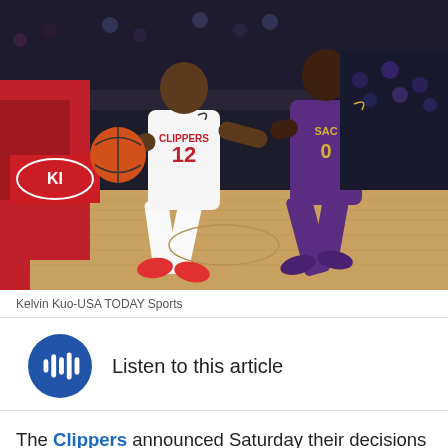[Figure (photo): Basketball game action shot: LA Clippers player #12 in white jersey dribbling past a Sacramento Kings player in purple jersey on a hardwood court. KIA advertisement visible in background. Arena crowd visible.]
Kelvin Kuo-USA TODAY Sports
Listen to this article
The Clippers announced Saturday their decisions on their training camp contracts, trimming their roster to